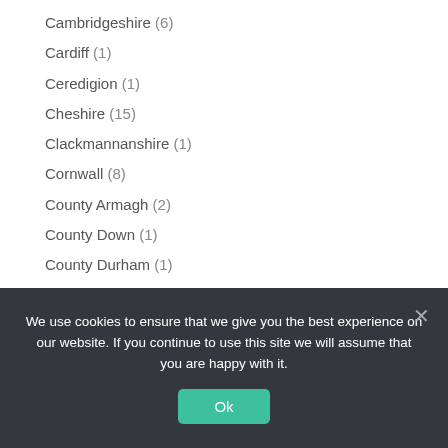Cambridgeshire (6)
Cardiff (1)
Ceredigion (1)
Cheshire (15)
Clackmannanshire (1)
Cornwall (8)
County Armagh (2)
County Down (1)
County Durham (1)
County Meath (1)
Crosses (439)
Cumbria (9)
We use cookies to ensure that we give you the best experience on our website. If you continue to use this site we will assume that you are happy with it.